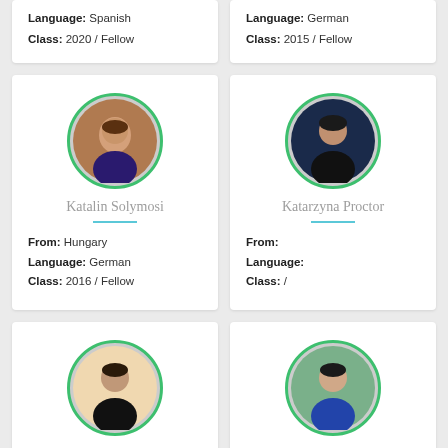Language: Spanish
Class: 2020 / Fellow
Language: German
Class: 2015 / Fellow
[Figure (photo): Circular profile photo of Katalin Solymosi]
Katalin Solymosi
From: Hungary
Language: German
Class: 2016 / Fellow
[Figure (photo): Circular profile photo of Katarzyna Proctor]
Katarzyna Proctor
From:
Language:
Class: /
[Figure (photo): Circular profile photo of Kayla Robinson]
Kayla Robinson
[Figure (photo): Circular profile photo of Kaylyn Kim]
Kaylyn Kim